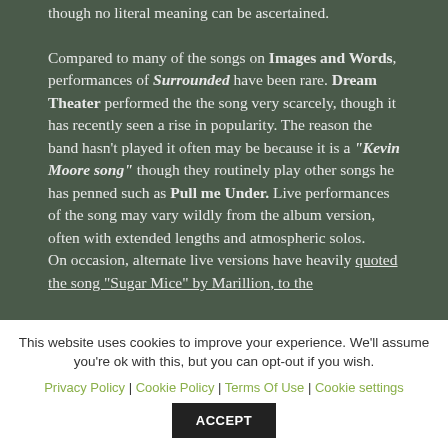though no literal meaning can be ascertained. Compared to many of the songs on Images and Words, performances of Surrounded have been rare. Dream Theater performed the the song very scarcely, though it has recently seen a rise in popularity. The reason the band hasn't played it often may be because it is a "Kevin Moore song" though they routinely play other songs he has penned such as Pull me Under. Live performances of the song may vary wildly from the album version, often with extended lengths and atmospheric solos. On occasion, alternate live versions have heavily quoted the song "Sugar Mice" by Marillion, to the
This website uses cookies to improve your experience. We'll assume you're ok with this, but you can opt-out if you wish. Privacy Policy | Cookie Policy | Terms Of Use | Cookie settings ACCEPT